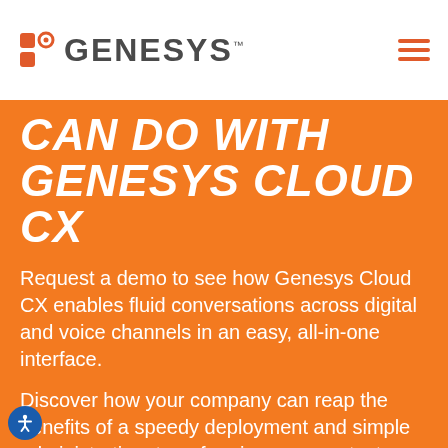[Figure (logo): Genesys logo with icon and wordmark in header]
CAN DO WITH GENESYS CLOUD CX
Request a demo to see how Genesys Cloud CX enables fluid conversations across digital and voice channels in an easy, all-in-one interface.
Discover how your company can reap the benefits of a speedy deployment and simple administration, transforming your contact center into an experience center virtually overnight.